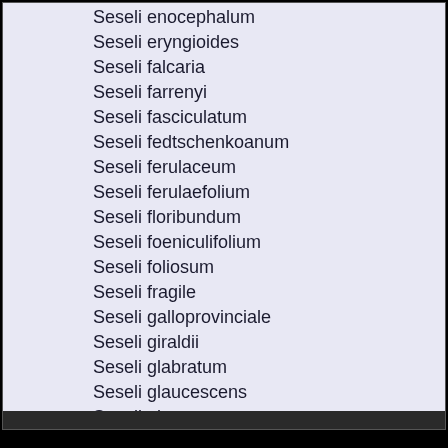Seseli enocephalum
Seseli eryngioides
Seseli falcaria
Seseli farrenyi
Seseli fasciculatum
Seseli fedtschenkoanum
Seseli ferulaceum
Seseli ferulaefolium
Seseli floribundum
Seseli foeniculifolium
Seseli foliosum
Seseli fragile
Seseli galloprovinciale
Seseli giraldii
Seseli glabratum
Seseli glaucescens
Seseli glaucum
Seseli globiferum
Seseli gouani
Seseli gouanii
Seseli gracile
Seseli granatense
Seseli grandivittatum
Seseli graveolens
Seseli grubovii